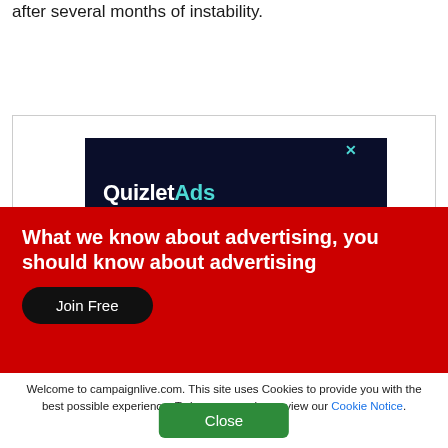after several months of instability.
[Figure (screenshot): Quizlet Ads advertisement banner with dark navy background showing 'QuizletAds' text and a close X button]
What we know about advertising, you should know about advertising
Join Free
Welcome to campaignlive.com. This site uses Cookies to provide you with the best possible experience. To learn more please view our Cookie Notice.
Close